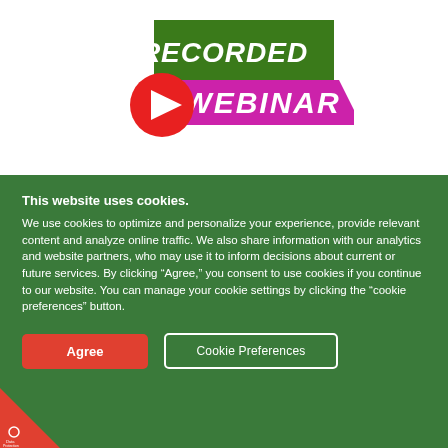[Figure (logo): Recorded Webinar badge: green banner with 'RECORDED' text, magenta/purple ribbon with 'WEBINAR' text, and a red play button circle on the left.]
This website uses cookies.
We use cookies to optimize and personalize your experience, provide relevant content and analyze online traffic. We also share information with our analytics and website partners, who may use it to inform decisions about current or future services. By clicking “Agree,” you consent to use cookies if you continue to our website. You can manage your cookie settings by clicking the “cookie preferences” button.
[Figure (other): Two buttons: red 'Agree' button and outlined 'Cookie Preferences' button on green background.]
[Figure (logo): Data Protection Settings badge in bottom-left corner, red triangle with icon and text.]